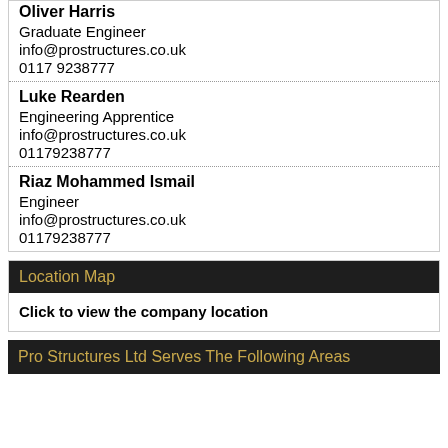Oliver Harris
Graduate Engineer
info@prostructures.co.uk
0117 9238777
Luke Rearden
Engineering Apprentice
info@prostructures.co.uk
01179238777
Riaz Mohammed Ismail
Engineer
info@prostructures.co.uk
01179238777
Location Map
Click to view the company location
Pro Structures Ltd Serves The Following Areas